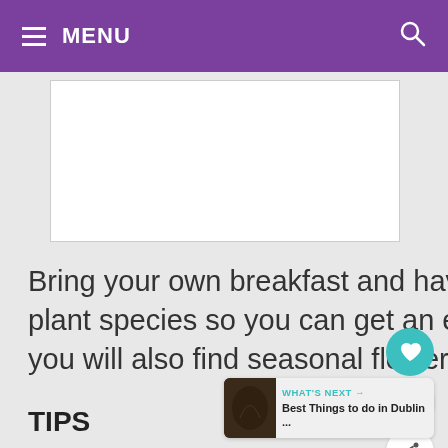≡ MENU
[Figure (other): Advertisement or image placeholder, white rectangle]
Bring your own breakfast and have it on a bench among the 350 plant species so you can get an early start on your first day. Here, you will also find seasonal flower displays.
TIPS